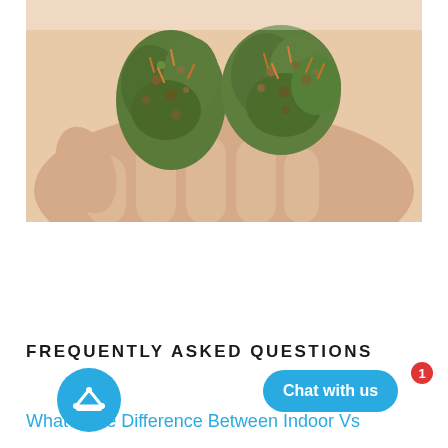[Figure (photo): Close-up photo of a hand holding two green cannabis buds/flowers against a light background]
FREQUENTLY ASKED QUESTIONS
Chat with us
What's The Difference Between Indoor Vs